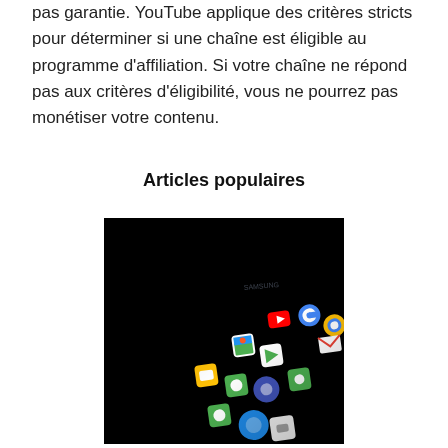pas garantie. YouTube applique des critères stricts pour déterminer si une chaîne est éligible au programme d'affiliation. Si votre chaîne ne répond pas aux critères d'éligibilité, vous ne pourrez pas monétiser votre contenu.
Articles populaires
[Figure (photo): A smartphone with a black background displaying a grid of colorful app icons including YouTube, Google Maps, Chrome, Gmail, Phone, Messages, and others, photographed at an angle.]